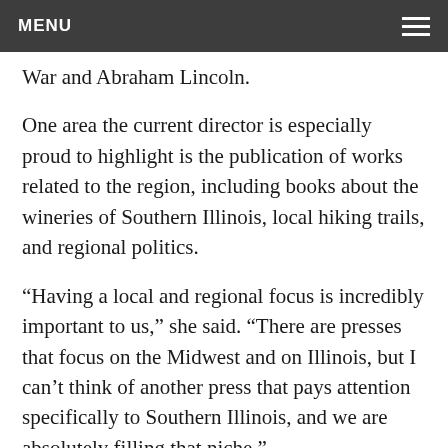MENU
War and Abraham Lincoln.
One area the current director is especially proud to highlight is the publication of works related to the region, including books about the wineries of Southern Illinois, local hiking trails, and regional politics.
“Having a local and regional focus is incredibly important to us,” she said. “There are presses that focus on the Midwest and on Illinois, but I can’t think of another press that pays attention specifically to Southern Illinois, and we are absolutely filling that niche.”
Martin, who has been at the press for 17 years, said